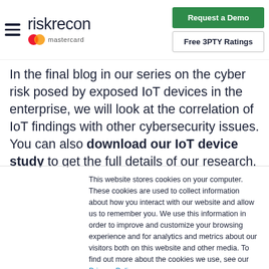riskrecon mastercard | Request a Demo | Free 3PTY Ratings
In the final blog in our series on the cyber risk posed by exposed IoT devices in the enterprise, we will look at the correlation of IoT findings with other cybersecurity issues. You can also download our IoT device study to get the full details of our research.
This website stores cookies on your computer. These cookies are used to collect information about how you interact with our website and allow us to remember you. We use this information in order to improve and customize your browsing experience and for analytics and metrics about our visitors both on this website and other media. To find out more about the cookies we use, see our Privacy Policy.